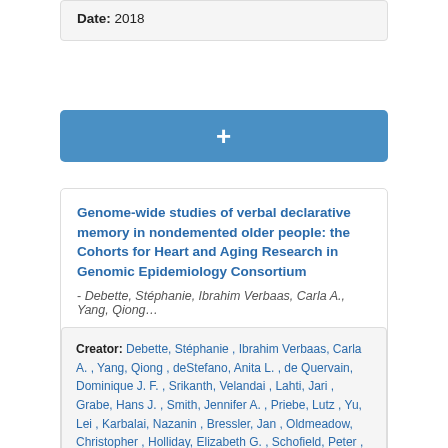Date: 2018
+
Genome-wide studies of verbal declarative memory in nondemented older people: the Cohorts for Heart and Aging Research in Genomic Epidemiology Consortium
- Debette, Stéphanie, Ibrahim Verbaas, Carla A., Yang, Qiong…
Creator: Debette, Stéphanie , Ibrahim Verbaas, Carla A. , Yang, Qiong , deStefano, Anita L. , de Quervain, Dominique J. F. , Srikanth, Velandai , Lahti, Jari , Grabe, Hans J. , Smith, Jennifer A. , Priebe, Lutz , Yu, Lei , Karbalai, Nazanin , Bressler, Jan , Oldmeadow, Christopher , Holliday, Elizabeth G. , Schofield, Peter , Attia, John ,